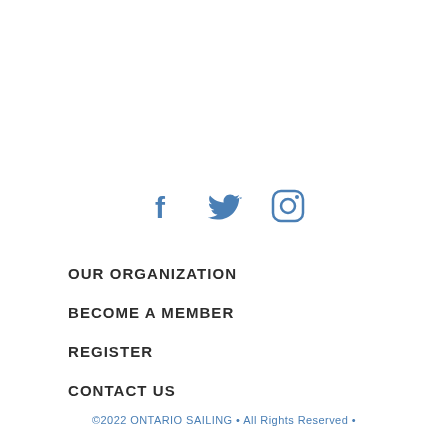[Figure (other): Social media icons: Facebook, Twitter, Instagram in blue]
OUR ORGANIZATION
BECOME A MEMBER
REGISTER
CONTACT US
©2022 ONTARIO SAILING • All Rights Reserved •